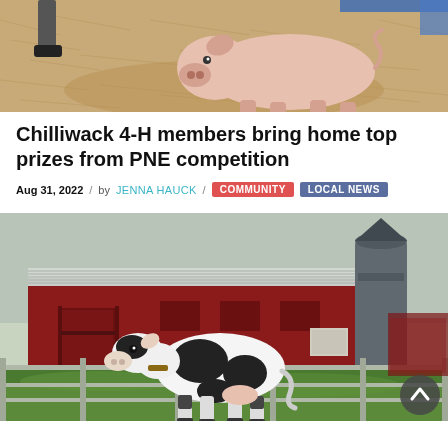[Figure (photo): A pig standing on straw/hay bedding inside a barn, partial view of person's legs and shoes visible at top left]
Chilliwack 4-H members bring home top prizes from PNE competition
Aug 31, 2022 / by JENNA HAUCK / COMMUNITY LOCAL NEWS
[Figure (photo): A black and white Holstein dairy cow standing in a green pasture in front of a large red barn building with a metal grain silo, with metal fence railings in foreground]